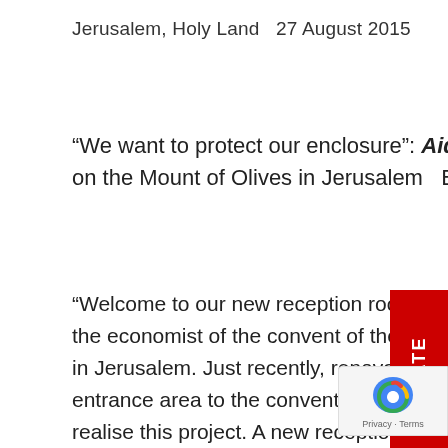Jerusalem, Holy Land  27 August 2015
“We want to protect our enclosure”: Aid to the Church in Need helps Carmelite nuns on the Mount of Olives in Jerusalem   By Oliver Maksan
“Welcome to our new reception room,” Sister Agathe offers a warm greeting. The nun is the economist of the convent of the Carmelite Cloistered Sisters on the Mount of Olives in Jerusalem. Just recently, renovations were done on the once haphazardly arranged entrance area to the convent. Aid to the Church in Need (ACN) helped the sisters realise this project. A new reception room was also added, as covered access area. Everything is clean and bright